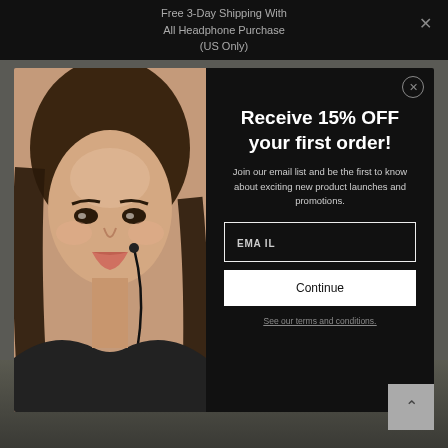Free 3-Day Shipping With All Headphone Purchase (US Only)
[Figure (screenshot): E-commerce popup modal overlay on a website. Left half shows a woman wearing earbuds. Right half is a black panel with promotional offer.]
Receive 15% OFF your first order!
Join our email list and be the first to know about exciting new product launches and promotions.
EMAIL
Continue
See our terms and conditions.